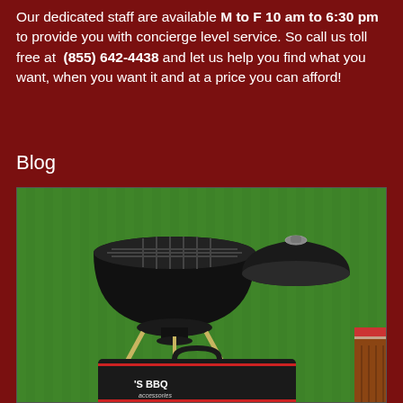Our dedicated staff are available M to F 10 am to 6:30 pm to provide you with concierge level service. So call us toll free at (855) 642-4438 and let us help you find what you want, when you want it and at a price you can afford!
Blog
[Figure (photo): Outdoor BBQ scene showing a black kettle charcoal grill on green grass with its lid off to the side, and a black BBQ tool carry bag labeled "'S BBQ" in the foreground. A red checkered picnic basket is visible on the right edge.]